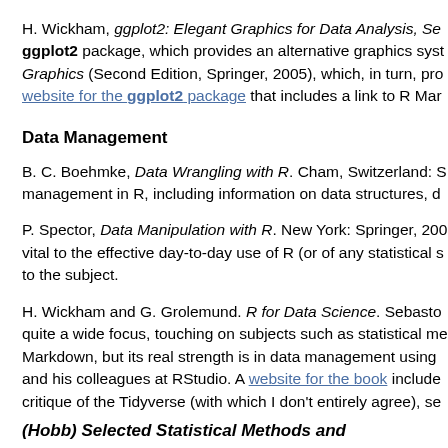H. Wickham, ggplot2: Elegant Graphics for Data Analysis, Se... ggplot2 package, which provides an alternative graphics syst... Graphics (Second Edition, Springer, 2005), which, in turn, pro... website for the ggplot2 package that includes a link to R Mar...
Data Management
B. C. Boehmke, Data Wrangling with R. Cham, Switzerland: S... management in R, including information on data structures, d...
P. Spector, Data Manipulation with R. New York: Springer, 200... vital to the effective day-to-day use of R (or of any statistical s... to the subject.
H. Wickham and G. Grolemund. R for Data Science. Sebasto... quite a wide focus, touching on subjects such as statistical me... Markdown, but its real strength is in data management using ... and his colleagues at RStudio. A website for the book include... critique of the Tidyverse (with which I don't entirely agree), se...
(Hobb) Selected Statistical Methods and...